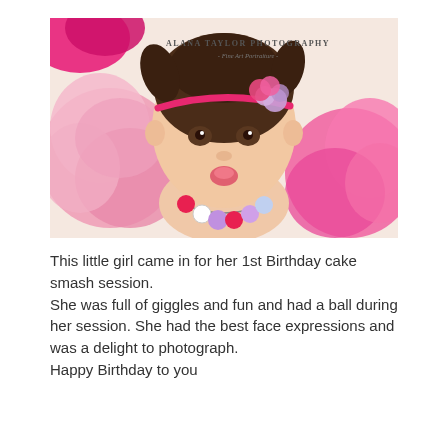[Figure (photo): A baby girl with small pigtails wearing a pink headband with flowers (pink and lavender), and a colorful beaded necklace. She is surrounded by pink tissue paper pom-poms. A watermark reads 'Alana Taylor Photography - Fine Art Portraiture -' in the upper right corner.]
This little girl came in for her 1st Birthday cake smash session.
She was full of giggles and fun and had a ball during her session. She had the best face expressions and was a delight to photograph.
Happy Birthday to you